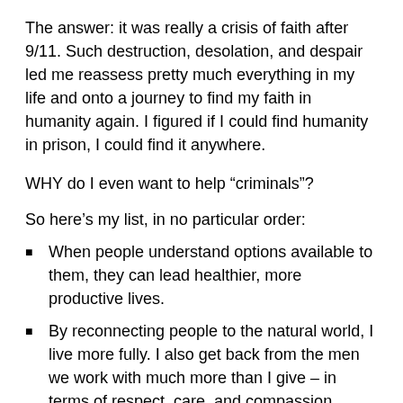The answer: it was really a crisis of faith after 9/11. Such destruction, desolation, and despair led me reassess pretty much everything in my life and onto a journey to find my faith in humanity again. I figured if I could find humanity in prison, I could find it anywhere.
WHY do I even want to help “criminals”?
So here’s my list, in no particular order:
When people understand options available to them, they can lead healthier, more productive lives.
By reconnecting people to the natural world, I live more fully. I also get back from the men we work with much more than I give – in terms of respect, care, and compassion. Prisoners are people, too. The men have a saying: “You get what you give, and you give what